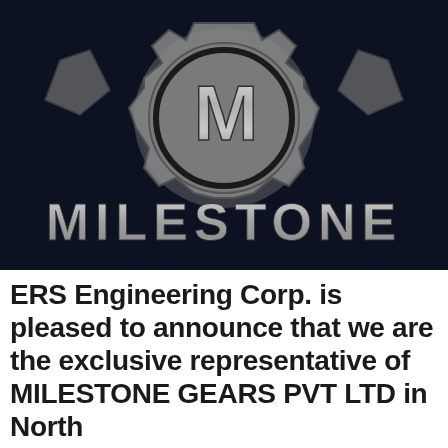[Figure (logo): Milestone Gears logo: a silver metallic 'M' letter inside a circular gear/cog shape on a dark navy background, with the word 'MILESTONE' in large silver metallic letters beneath it.]
ERS Engineering Corp. is pleased to announce that we are the exclusive representative of MILESTONE GEARS PVT LTD in North